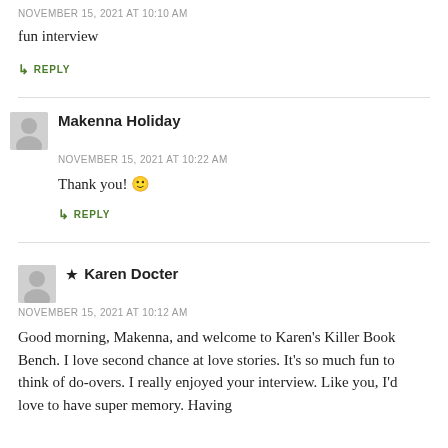NOVEMBER 15, 2021 AT 10:10 AM
fun interview
↳ REPLY
Makenna Holiday
NOVEMBER 15, 2021 AT 10:22 AM
Thank you! 🙂
↳ REPLY
★ Karen Docter
NOVEMBER 15, 2021 AT 10:12 AM
Good morning, Makenna, and welcome to Karen's Killer Book Bench. I love second chance at love stories. It's so much fun to think of do-overs. I really enjoyed your interview. Like you, I'd love to have super memory. Having